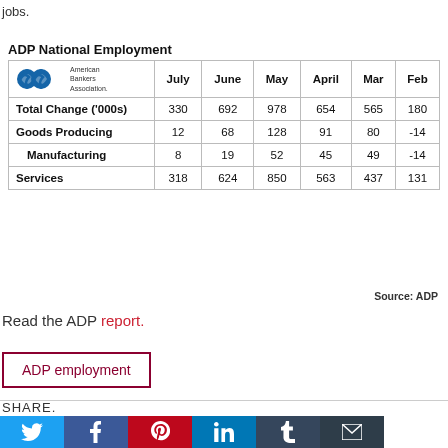jobs.
ADP National Employment
|  | July | June | May | April | Mar | Feb |
| --- | --- | --- | --- | --- | --- | --- |
| Total Change ('000s) | 330 | 692 | 978 | 654 | 565 | 180 |
| Goods Producing | 12 | 68 | 128 | 91 | 80 | -14 |
| Manufacturing | 8 | 19 | 52 | 45 | 49 | -14 |
| Services | 318 | 624 | 850 | 563 | 437 | 131 |
Source: ADP
Read the ADP report.
ADP employment
SHARE.
[Figure (infographic): Social share buttons: Twitter, Facebook, Pinterest, LinkedIn, Tumblr, Email]